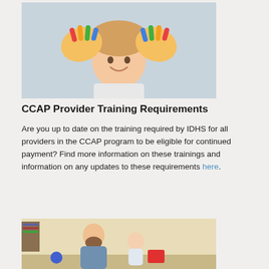[Figure (photo): Child holding up colorful paint-covered hands in front of face, smiling]
CCAP Provider Training Requirements
Are you up to date on the training required by IDHS for all providers in the CCAP program to be eligible for continued payment? Find more information on these trainings and information on any updates to these requirements here.
[Figure (photo): Bearded man smiling and interacting with a baby, appears to be in a childcare setting]